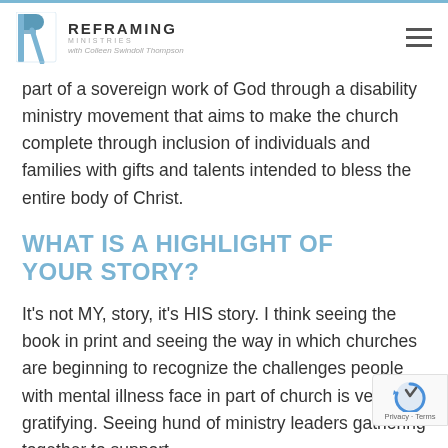REFRAMING MINISTRIES with Colleen Swindoll Thompson
part of a sovereign work of God through a disability ministry movement that aims to make the church complete through inclusion of individuals and families with gifts and talents intended to bless the entire body of Christ.
WHAT IS A HIGHLIGHT OF YOUR STORY?
It's not MY, story, it's HIS story. I think seeing the book in print and seeing the way in which churches are beginning to recognize the challenges people with mental illness face in part of church is very gratifying. Seeing hundreds of ministry leaders gathering together to support